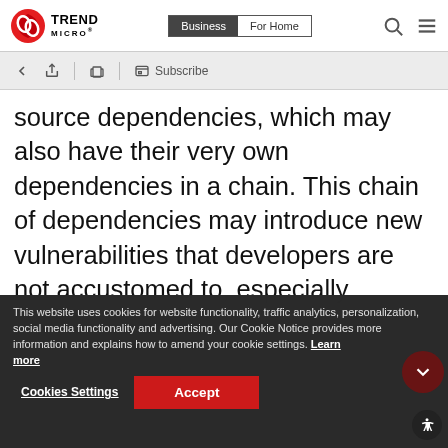[Figure (logo): Trend Micro logo with red spinning circle icon and TREND MICRO text]
Business | For Home navigation bar with search and menu icons
[Figure (screenshot): Toolbar with back arrow, share, print, and Subscribe icons on grey background]
source dependencies, which may also have their very own dependencies in a chain. This chain of dependencies may introduce new vulnerabilities that developers are not accustomed to, especially
if they do not thoroughly verify or properly manage ve...
This website uses cookies for website functionality, traffic analytics, personalization, social media functionality and advertising. Our Cookie Notice provides more information and explains how to amend your cookie settings. Learn more
Common open source vulnerabilities include: Heartbleed, Shellshock, E...-t-pad, and more. In some cases, ho... to exploit